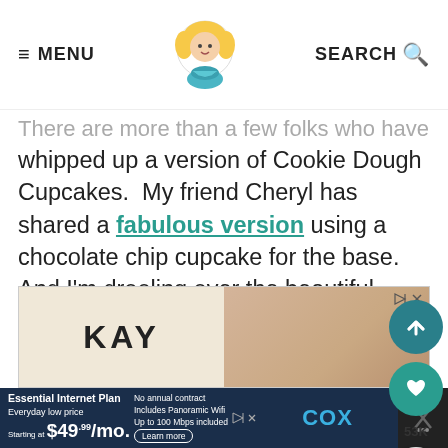≡ MENU   [logo]   SEARCH 🔍
There are more than a few folks who have whipped up a version of Cookie Dough Cupcakes.  My friend Cheryl has shared a fabulous version using a chocolate chip cupcake for the base.  And I'm drooling over the beautiful Chocolate Chip Cookie Dough Cupcakes that my friend Amanda shared too in fancy wrappers and all.  This is a cupcake flavor that is simply irresistible to make.
[Figure (screenshot): KAY jewelers advertisement banner at bottom of page]
[Figure (screenshot): Cox Essential Internet Plan advertisement banner at very bottom of page]